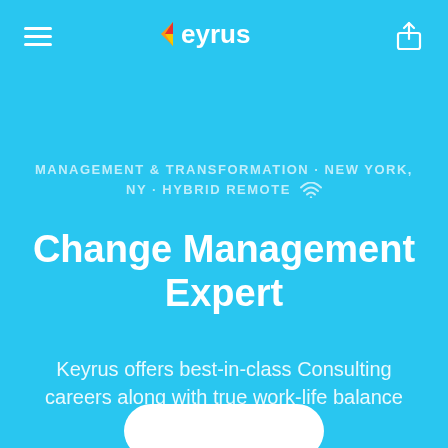[Figure (logo): Keyrus company logo in white with colored K-arrow symbol on cyan background]
MANAGEMENT & TRANSFORMATION · NEW YORK, NY · HYBRID REMOTE
Change Management Expert
Keyrus offers best-in-class Consulting careers along with true work-life balance